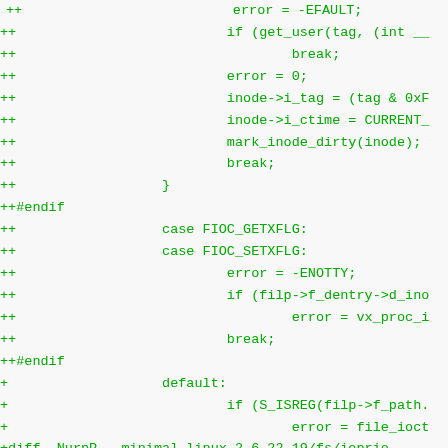++                          error = -EFAULT;
++                          if (get_user(tag, (int __
++                                  break;
++                          error = 0;
++                          inode->i_tag = (tag & 0xF
++                          inode->i_ctime = CURRENT_
++                          mark_inode_dirty(inode);
++                          break;
++                  }
++#endif
++                  case FIOC_GETXFLG:
++                  case FIOC_SETXFLG:
++                          error = -ENOTTY;
++                          if (filp->f_dentry->d_ino
++                                  error = vx_proc_i
++                          break;
++#endif
+                   default:
+                           if (S_ISREG(filp->f_path.
+                                   error = file_ioct
+diff -NurpP --minimal linux-2.6.22.19/fs/ioprio.
+--- linux-2.6.22.19/fs/ioprio.c            2007-05-0